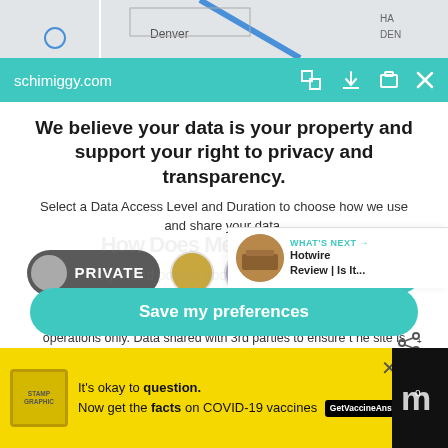[Figure (screenshot): Map strip showing Denver area map with Miller Park label]
schimiggy.com
We believe your data is your property and support your right to privacy and transparency.
Select a Data Access Level and Duration to choose how we use and share your data.
[Figure (infographic): Privacy controls row with PRIVATE button (dark gray pill), gold circle, lavender circle, 1 month dropdown, and teal heart button]
Highest level of privacy. Data accessed for necessary basic operations only. Data shared with 3rd parties to ensure the site is secure and works on your device
[Figure (infographic): What's Next card showing Hotwire Review thumbnail with teal arrow]
Save my preferences
[Figure (infographic): Yellow ad banner: It's okay to question. Now get the facts on COVID-19 vaccines. GetVaccineAnswers.org]